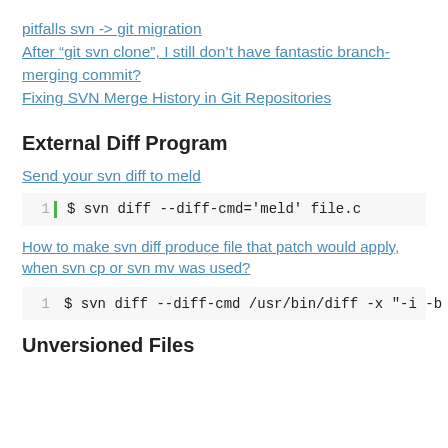pitfalls svn -> git migration
After “git svn clone”, I still don’t have fantastic branch-merging commit?
Fixing SVN Merge History in Git Repositories
External Diff Program
Send your svn diff to meld
1  $ svn diff --diff-cmd='meld' file.c
How to make svn diff produce file that patch would apply, when svn cp or svn mv was used?
1  $ svn diff --diff-cmd /usr/bin/diff -x "-i -b
Unversioned Files